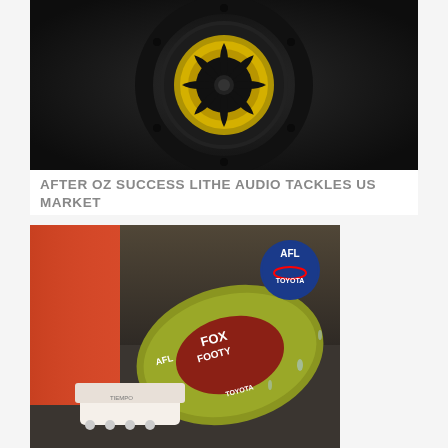[Figure (photo): Close-up photo of a black and gold ceiling speaker or audio device with fan-like blades]
AFTER OZ SUCCESS LITHE AUDIO TACKLES US MARKET
[Figure (photo): AFL football with Fox Footy and Toyota branding, with player's boot and socks visible, wet conditions]